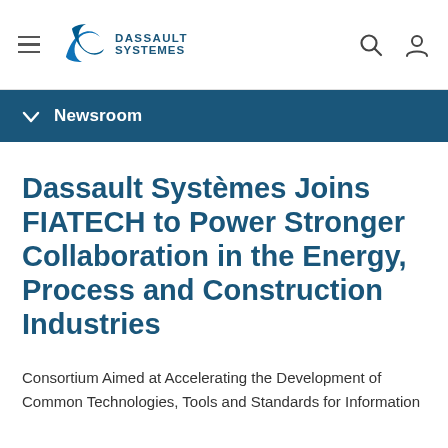≡ Dassault Systèmes [logo] 🔍 👤
Newsroom
Dassault Systèmes Joins FIATECH to Power Stronger Collaboration in the Energy, Process and Construction Industries
Consortium Aimed at Accelerating the Development of Common Technologies, Tools and Standards for Information